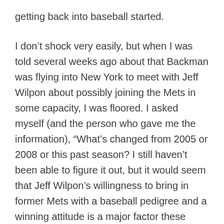getting back into baseball started.
I don’t shock very easily, but when I was told several weeks ago about that Backman was flying into New York to meet with Jeff Wilpon about possibly joining the Mets in some capacity, I was floored. I asked myself (and the person who gave me the information), “What’s changed from 2005 or 2008 or this past season? I still haven’t been able to figure it out, but it would seem that Jeff Wilpon’s willingness to bring in former Mets with a baseball pedigree and a winning attitude is a major factor these days.
Some might argue that it’s a flawed way of doing things, but when comparing the likes of Backman,